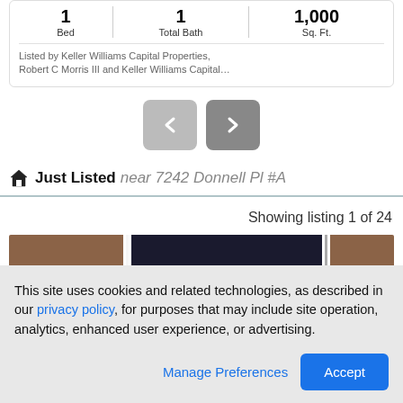| Bed | Total Bath | Sq. Ft. |
| --- | --- | --- |
| 1 | 1 | 1,000 |
Listed by Keller Williams Capital Properties, Robert C Morris III and Keller Williams Capital…
[Figure (screenshot): Navigation previous and next arrow buttons (< and >) in gray rounded rectangles]
Just Listed near 7242 Donnell Pl #A
Showing listing 1 of 24
[Figure (photo): Partial photo strip showing exterior building images]
This site uses cookies and related technologies, as described in our privacy policy, for purposes that may include site operation, analytics, enhanced user experience, or advertising.
Manage Preferences
Accept